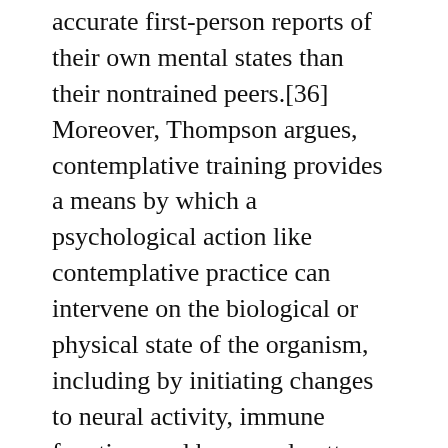accurate first-person reports of their own mental states than their nontrained peers.[36] Moreover, Thompson argues, contemplative training provides a means by which a psychological action like contemplative practice can intervene on the biological or physical state of the organism, including by initiating changes to neural activity, immune function, and hormonal patterns.[37]
In other words, Metzinger's claim ought to be countered not simply on the grounds that one has a romantic attachment to appearances, aesthetics, and untrue fictions, but more precisely